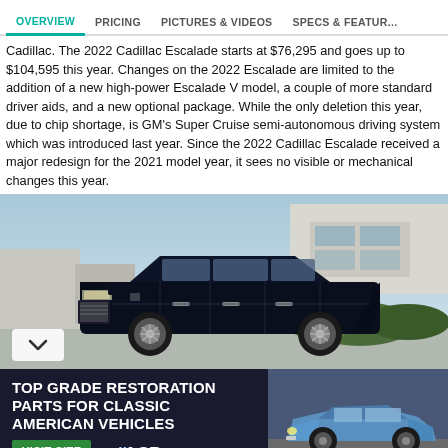OVERVIEW | PRICING | PICTURES & VIDEOS | SPECS & FEATURES
Cadillac. The 2022 Cadillac Escalade starts at $76,295 and goes up to $104,595 this year. Changes on the 2022 Escalade are limited to the addition of a new high-power Escalade V model, a couple of more standard driver aids, and a new optional package. While the only deletion this year, due to chip shortage, is GM's Super Cruise semi-autonomous driving system which was introduced last year. Since the 2022 Cadillac Escalade received a major redesign for the 2021 model year, it sees no visible or mechanical changes this year.
[Figure (photo): 2022 Cadillac Escalade luxury SUV in dark navy/black color parked in front of a modern white building with hedges in background, light blue sky]
[Figure (photo): Advertisement banner: TOP GRADE RESTORATION PARTS FOR CLASSIC AMERICAN VEHICLES - VISIT SITE - ACP logo, with image of classic Ford Mustang on right side]